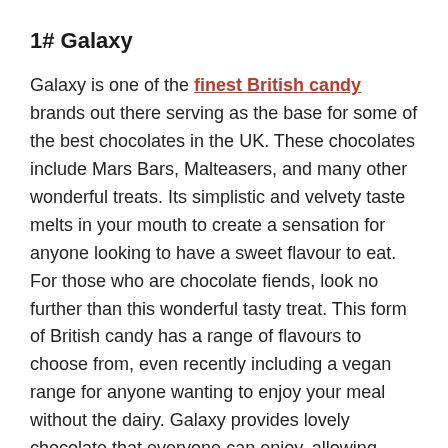1# Galaxy
Galaxy is one of the finest British candy brands out there serving as the base for some of the best chocolates in the UK. These chocolates include Mars Bars, Malteasers, and many other wonderful treats. Its simplistic and velvety taste melts in your mouth to create a sensation for anyone looking to have a sweet flavour to eat. For those who are chocolate fiends, look no further than this wonderful tasty treat. This form of British candy has a range of flavours to choose from, even recently including a vegan range for anyone wanting to enjoy your meal without the dairy. Galaxy provides lovely chocolate that everyone can enjoy, allowing everyone in the family to get involved.
2# Lion Bar